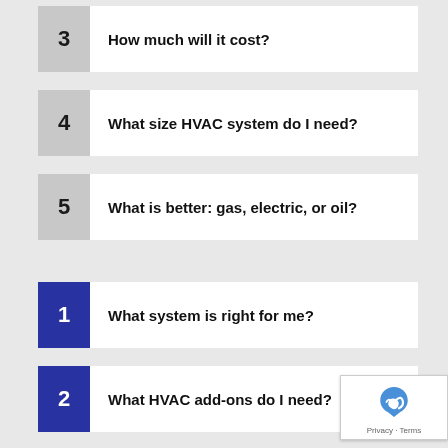3  How much will it cost?
4  What size HVAC system do I need?
5  What is better: gas, electric, or oil?
1  What system is right for me?
2  What HVAC add-ons do I need?
3  How much will it cost?